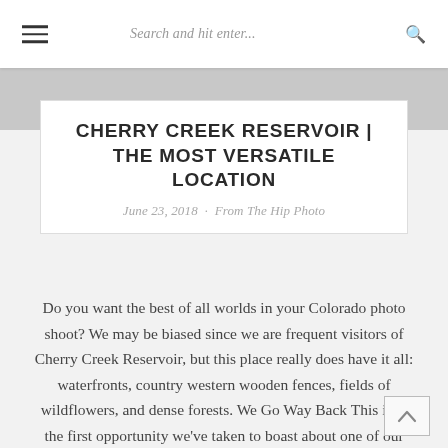Search and hit enter...
CHERRY CREEK RESERVOIR | THE MOST VERSATILE LOCATION
June 23, 2018 · From The Hip Photo
Do you want the best of all worlds in your Colorado photo shoot? We may be biased since we are frequent visitors of Cherry Creek Reservoir, but this place really does have it all: waterfronts, country western wooden fences, fields of wildflowers, and dense forests. We Go Way Back This isn't the first opportunity we've taken to boast about one of our favorite locations. See our recent post about the reservoir and all it has to offer here! For this particular blog post, we aim to brag some more about this stunning location: